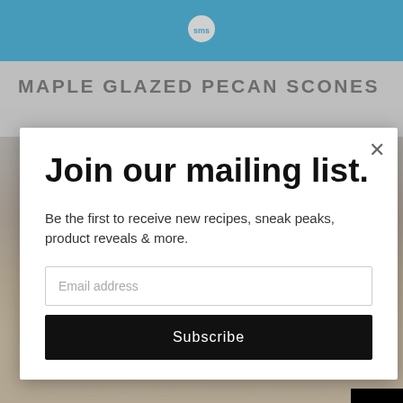SMS logo header bar
MAPLE GLAZED PECAN SCONES
[Figure (screenshot): Background food photo of scones with glaze]
Join our mailing list.
Be the first to receive new recipes, sneak peaks, product reveals & more.
Email address
Subscribe
[Figure (screenshot): Black video loading panel with spinning circle loader and CLOSE button]